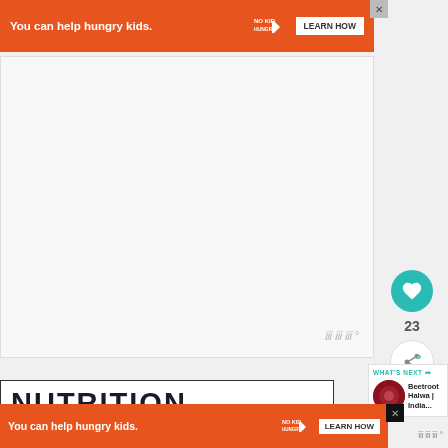[Figure (screenshot): Top orange ad banner: 'You can help hungry kids.' with No Kid Hungry logo and LEARN HOW button, with X close button]
[Figure (screenshot): Large white/light gray content area (video placeholder or image area), with watermark-style text in bottom right]
[Figure (screenshot): Heart/like button (teal circle with heart icon), count of 23, and share button on right side]
[Figure (screenshot): What's Next panel with Beetroot Halwa | India... thumbnail and title]
NUTRITION
[Figure (screenshot): Bottom orange ad banner: 'You can help hungry kids.' with No Kid Hungry logo and LEARN HOW button, with X close button]